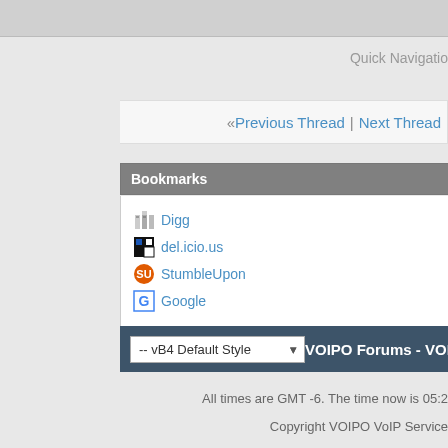Quick Navigation
« Previous Thread | Next Thread »
Bookmarks
Digg
del.icio.us
StumbleUpon
Google
Posting Permissions
You may not post new threads
You may not post replies
You may not post attachments
You may not edit your posts
-- vB4 Default Style   VOIPO Forums - VOIPO
All times are GMT -6. The time now is 05:2
Copyright VOIPO VoIP Service